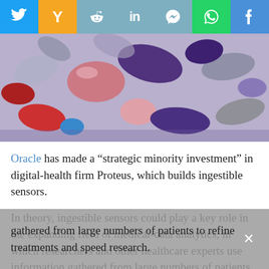[Figure (other): Social media share bar with icons for Twitter, Y Combinator, Reddit, LinkedIn, Messenger, WhatsApp, and Facebook]
[Figure (photo): Close-up photograph of assorted colorful pills and capsules — purple, gray, pink, red, blue, and multi-colored]
Oracle has made a “strategic minority investment” in digital-health firm Proteus, which builds ingestible sensors.
In theory, ingestible sensors could play a key role in the expanding field of medical-data analytics, in which researchers and other healthcare experts use information gathered from large numbers of patients to refine treatments and speed research.